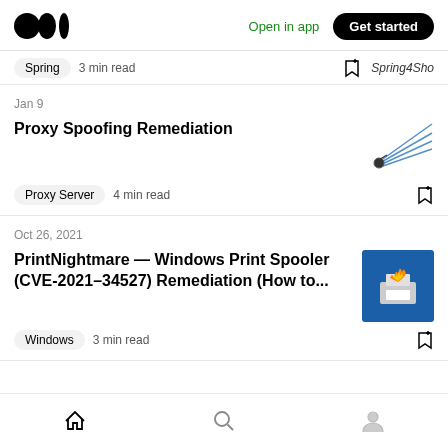Medium logo | Open in app | Get started
Spring  3 min read
Jan 9
Proxy Spoofing Remediation
Proxy Server  4 min read
Oct 26, 2021
PrintNightmare — Windows Print Spooler (CVE-2021-34527) Remediation (How to...
Windows  3 min read
Home | Search | Profile